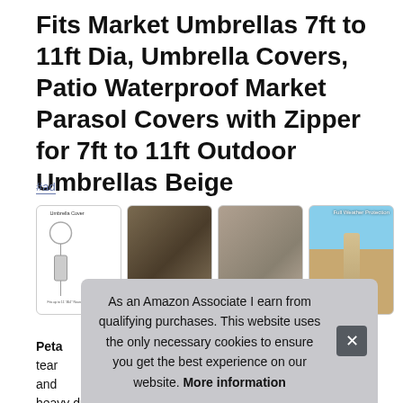Fits Market Umbrellas 7ft to 11ft Dia, Umbrella Covers, Patio Waterproof Market Parasol Covers with Zipper for 7ft to 11ft Outdoor Umbrellas Beige
#ad
[Figure (photo): Four product images: 1) diagram of umbrella cover dimensions, 2) umbrella covers in beige/brown colors, 3) close-up of waterproof fabric with UV protected label, 4) outdoor patio scene with umbrella cover installed]
Peta... tear... and... heavy duty rust-proof side zipper closure for easy on and off:
As an Amazon Associate I earn from qualifying purchases. This website uses the only necessary cookies to ensure you get the best experience on our website. More information